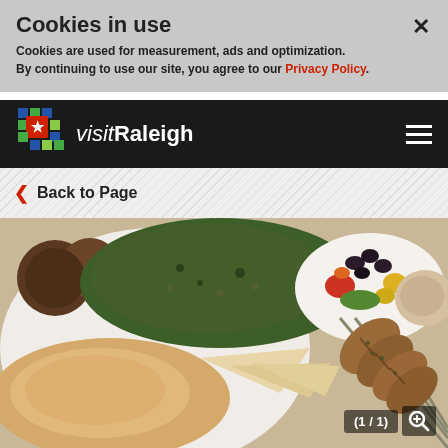Cookies in use
Cookies are used for measurement, ads and optimization. By continuing to use our site, you agree to our Privacy Policy.
[Figure (logo): visitRaleigh logo with colorful star grid icon and text]
Back to Page
[Figure (photo): A plate of Middle Eastern food including falafel, tabbouleh, hummus, pita bread, salad with olives, and grilled chicken skewers]